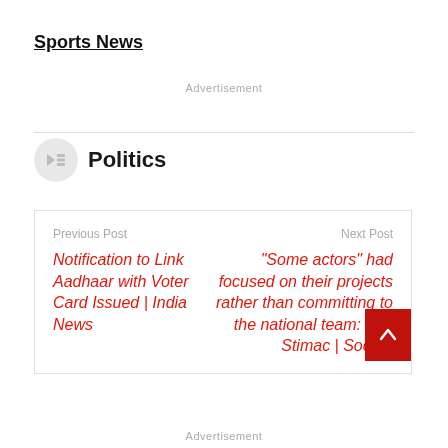Sports News
Advertisement
Politics
Previous Post
Notification to Link Aadhaar with Voter Card Issued | India News

Next Post
"Some actors" had focused on their projects rather than committing to the national team: Igor Stimac | Soccer
Advertisement